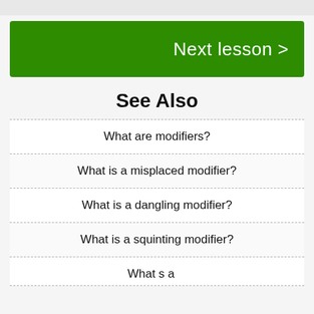[Figure (other): Green button labeled 'Next lesson >']
See Also
What are modifiers?
What is a misplaced modifier?
What is a dangling modifier?
What is a squinting modifier?